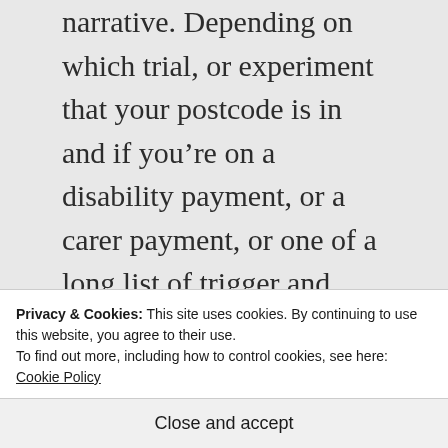narrative. Depending on which trial, or experiment that your postcode is in and if you're on a disability payment, or a carer payment, or one of a long list of trigger and restrictable payments (listed at the end of this article), that includes the stillbirth payment, you will be put on the CDC.
This is about the privatisation of government services via taxpayer
Privacy & Cookies: This site uses cookies. By continuing to use this website, you agree to their use.
To find out more, including how to control cookies, see here: Cookie Policy
Close and accept
for the financial and commercial